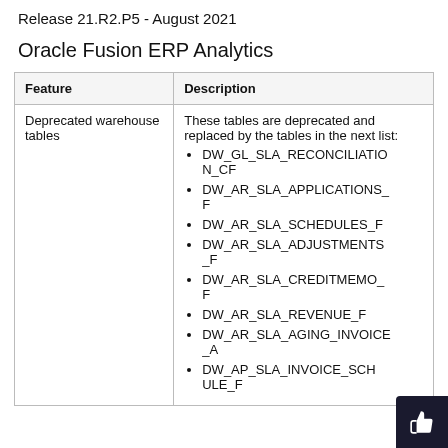Release 21.R2.P5 - August 2021
Oracle Fusion ERP Analytics
| Feature | Description |
| --- | --- |
| Deprecated warehouse tables | These tables are deprecated and replaced by the tables in the next list:
• DW_GL_SLA_RECONCILIATION_CF
• DW_AR_SLA_APPLICATIONS_F
• DW_AR_SLA_SCHEDULES_F
• DW_AR_SLA_ADJUSTMENTS_F
• DW_AR_SLA_CREDITMEMO_F
• DW_AR_SLA_REVENUE_F
• DW_AR_SLA_AGING_INVOICE_A
• DW_AP_SLA_INVOICE_SCHEDULE_F |